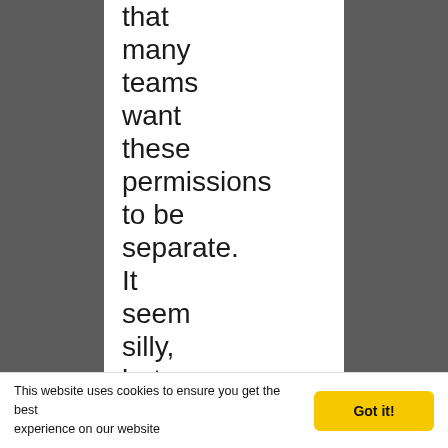that many teams want these permissions to be separate. It seem silly, but this is definitely what I have seen from users of the plugin.
This website uses cookies to ensure you get the best experience on our website